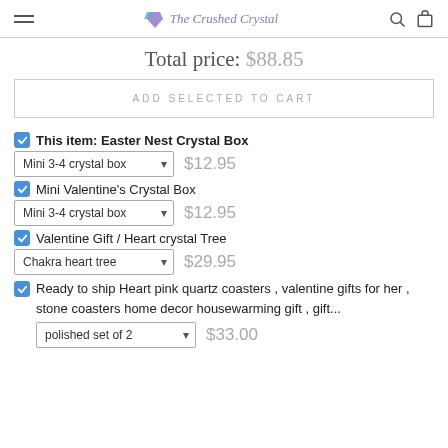The Crushed Crystal
Total price: $88.85
ADD SELECTED TO CART
This item: Easter Nest Crystal Box
Mini 3-4 crystal box — $12.95
Mini Valentine's Crystal Box
Mini 3-4 crystal box — $12.95
Valentine Gift / Heart crystal Tree
Chakra heart tree — $29.95
Ready to ship Heart pink quartz coasters , valentine gifts for her , stone coasters home decor housewarming gift , gift... polished set of 2 — $33.00